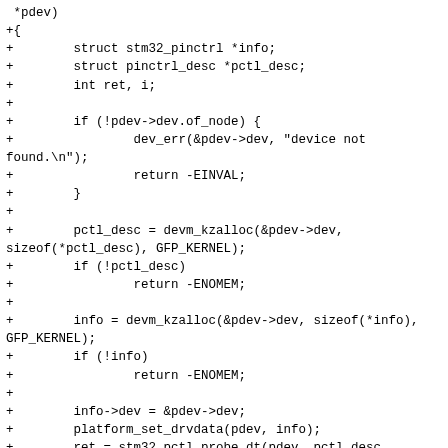*pdev)
+{
+        struct stm32_pinctrl *info;
+        struct pinctrl_desc *pctl_desc;
+        int ret, i;
+
+        if (!pdev->dev.of_node) {
+                dev_err(&pdev->dev, "device not found.\n");
+                return -EINVAL;
+        }
+
+        pctl_desc = devm_kzalloc(&pdev->dev,
sizeof(*pctl_desc), GFP_KERNEL);
+        if (!pctl_desc)
+                return -ENOMEM;
+
+        info = devm_kzalloc(&pdev->dev, sizeof(*info),
GFP_KERNEL);
+        if (!info)
+                return -ENOMEM;
+
+        info->dev = &pdev->dev;
+        platform_set_drvdata(pdev, info);
+        ret = stm32_pctl_probe_dt(pdev, pctl_desc,
info);
+        if (ret)
+                return ret;
+
+        pctl_desc->owner      = THIS_MODULE;